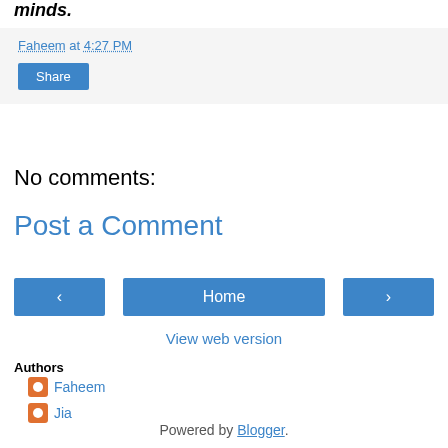minds.
Faheem at 4:27 PM
Share
No comments:
Post a Comment
‹  Home  ›
View web version
Authors
Faheem
Jia
Powered by Blogger.